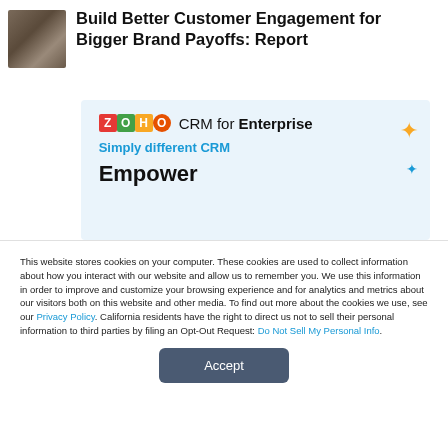[Figure (photo): Small avatar photo of a person]
Build Better Customer Engagement for Bigger Brand Payoffs: Report
[Figure (screenshot): ZOHO CRM for Enterprise advertisement banner with text 'Simply different CRM' and 'Empower', showing a brochure image]
This website stores cookies on your computer. These cookies are used to collect information about how you interact with our website and allow us to remember you. We use this information in order to improve and customize your browsing experience and for analytics and metrics about our visitors both on this website and other media. To find out more about the cookies we use, see our Privacy Policy. California residents have the right to direct us not to sell their personal information to third parties by filing an Opt-Out Request: Do Not Sell My Personal Info.